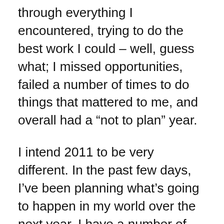through everything I encountered, trying to do the best work I could – well, guess what; I missed opportunities, failed a number of times to do things that mattered to me, and overall had a “not to plan” year.
I intend 2011 to be very different. In the past few days, I’ve been planning what’s going to happen in my world over the next year. I have a number of things on the go, and a few milestones to hit – I’ll be talking about them throughout the year.